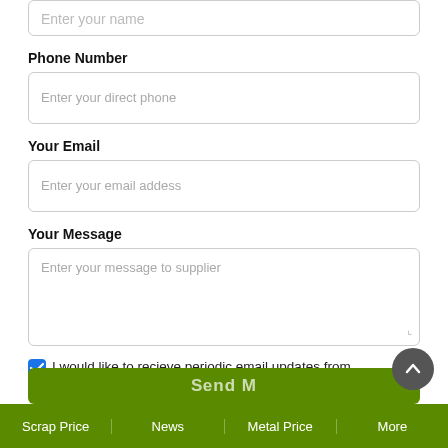Enter your name
Phone Number
Enter your direct phone
Your Email
Enter your email addess
Your Message
Enter your message to supplier
I would like to recieve periodic email updates from ScrapMonster
Scrap Price | News | Metal Price | More